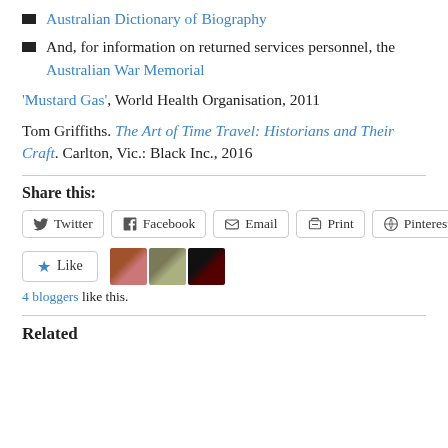Australian Dictionary of Biography
And, for information on returned services personnel, the Australian War Memorial
'Mustard Gas', World Health Organisation, 2011
Tom Griffiths. The Art of Time Travel: Historians and Their Craft. Carlton, Vic.: Black Inc., 2016
Share this:
Twitter Facebook Email Print Pinterest
Like  4 bloggers like this.
Related